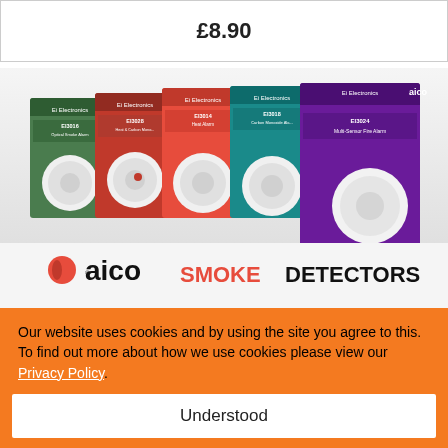£8.90
[Figure (photo): Aico smoke detectors product lineup showing multiple alarm boxes (EI3016 Optical Smoke Alarm, EI3028 Heat & Carbon Monoxide, EI3014 Heat Alarm, EI3018 Carbon Monoxide Alarm, EI3024 Multi-Sensor Fire Alarm) arranged together with the Aico logo and text 'SMOKE DETECTORS' at the bottom]
Our website uses cookies and by using the site you agree to this. To find out more about how we use cookies please view our Privacy Policy.
Understood